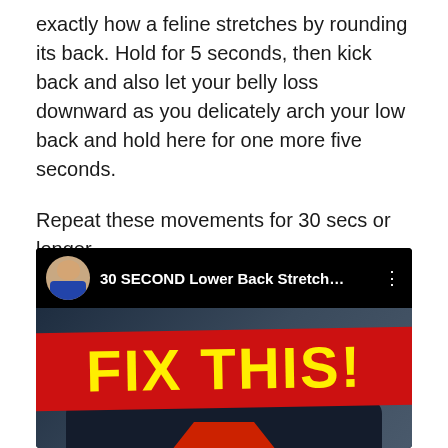exactly how a feline stretches by rounding its back. Hold for 5 seconds, then kick back and also let your belly loss downward as you delicately arch your low back and hold here for one more five seconds.

Repeat these movements for 30 secs or longer.
[Figure (screenshot): Screenshot of a YouTube video thumbnail titled '30 SECOND Lower Back Stretch...' with a profile avatar of a man in a blue shirt. The thumbnail shows a person in a dark navy shirt with a large red banner displaying 'FIX THIS!' in bold yellow text.]